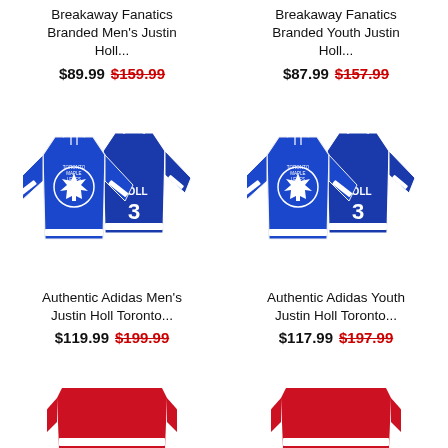Breakaway Fanatics Branded Men's Justin Holl...
$89.99 $159.99
Breakaway Fanatics Branded Youth Justin Holl...
$87.99 $157.99
[Figure (photo): Toronto Maple Leafs #3 Holl blue Adidas jersey front and back views]
Authentic Adidas Men's Justin Holl Toronto...
$119.99 $199.99
[Figure (photo): Toronto Maple Leafs #3 Holl blue Adidas jersey front and back views]
Authentic Adidas Youth Justin Holl Toronto...
$117.99 $197.99
[Figure (photo): Red hockey jersey partially visible at bottom left]
[Figure (photo): Red hockey jersey partially visible at bottom right]